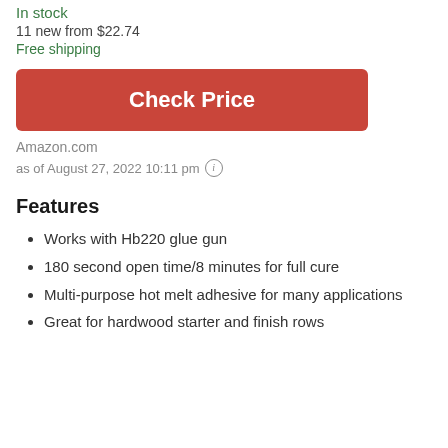In stock
11 new from $22.74
Free shipping
Check Price
Amazon.com
as of August 27, 2022 10:11 pm
Features
Works with Hb220 glue gun
180 second open time/8 minutes for full cure
Multi-purpose hot melt adhesive for many applications
Great for hardwood starter and finish rows